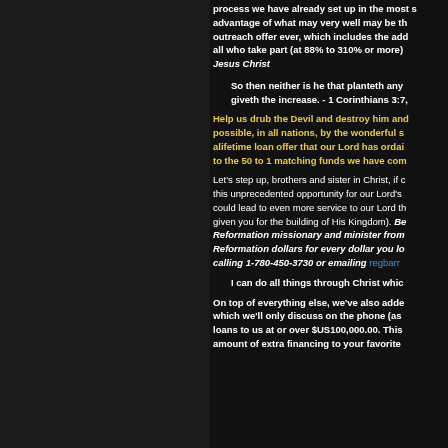process we have already set up in the most s... advantage of what may very well may be th... outreach offer ever, which includes the add... all who take part (at 88% to 310% or more)... Jesus Christ
So then neither is he that planteth any... giveth the increase. - 1 Corinthians 3:7,
Help us drub the Devil and destroy him and... possible, in all nations, by the wonderful s... alifetime loan offer that our Lord has ordai... to the 50 to 1 matching funds we have com...
Let's step up, brothers and sister in Christ, if c... this unprecedented opportunity for our Lord's ... could lead to even more service to our Lord th... given you for the building of His Kingdom). Be... Reformation missionary and minister from... Reformation dollars for every dollar you lo... calling 1-780-450-3730 or emailing regbarr...
I can do all things through Christ whic...
On top of everything else, we've also adde... which we'll only discuss on the phone (as ... loans to us at or over $US100,000.00. This ... amount of extra financing to your favorite...